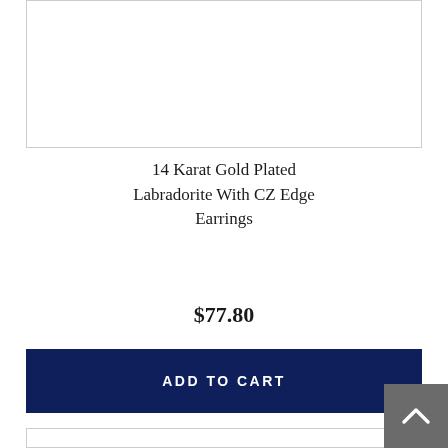[Figure (photo): Product image placeholder — white box with gray border, top of page (partially cropped)]
14 Karat Gold Plated Labradorite With CZ Edge Earrings
$77.80
ADD TO CART
[Figure (photo): Product image showing gold jewelry (necklace/earrings) on white background, partially cropped at bottom of page]